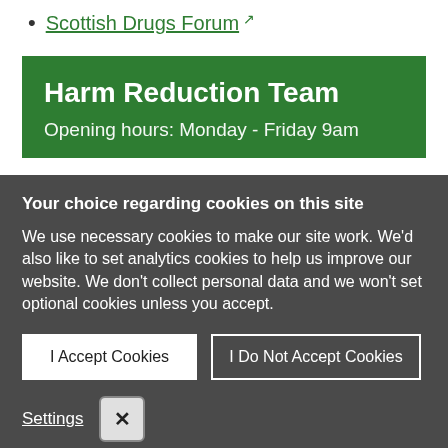Scottish Drugs Forum ↗
Harm Reduction Team
Opening hours: Monday - Friday 9am
Your choice regarding cookies on this site
We use necessary cookies to make our site work. We'd also like to set analytics cookies to help us improve our website. We don't collect personal data and we won't set optional cookies unless you accept.
I Accept Cookies
I Do Not Accept Cookies
Settings